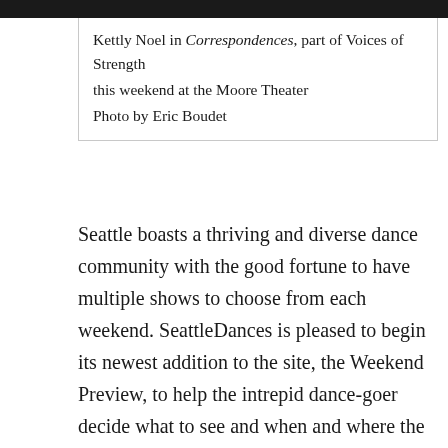[Figure (photo): Dark photo strip at the top of the page, partially visible photograph]
Kettly Noel in Correspondences, part of Voices of Strength
this weekend at the Moore Theater
Photo by Eric Boudet
Seattle boasts a thriving and diverse dance community with the good fortune to have multiple shows to choose from each weekend. SeattleDances is pleased to begin its newest addition to the site, the Weekend Preview, to help the intrepid dance-goer decide what to see and when and where the curtains are rising. This weekend has much to offer: Pacific Northwest Ballet's Cinderella, Voices of Strength at the Moore